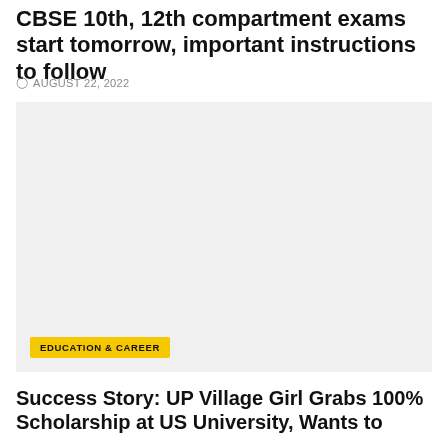CBSE 10th, 12th compartment exams start tomorrow, important instructions to follow
AUGUST 22, 2022
[Figure (photo): Large image placeholder with light gray background, containing an Education & Career category badge in yellow at the bottom left]
EDUCATION & CAREER
Success Story: UP Village Girl Grabs 100% Scholarship at US University, Wants to